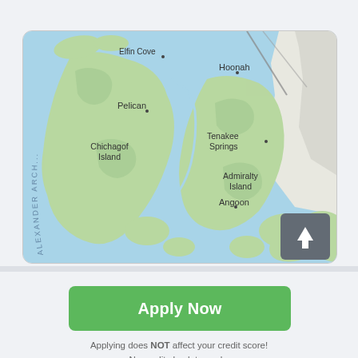[Figure (map): Map of southeastern Alaska showing Alexander Archipelago region with islands including Chichagof Island and Admiralty Island, with labeled locations: Elfin Cove, Hoonah, Pelican, Chichagof Island, Tenakee Springs, Admiralty Island, Angoon. Blue water channels separate green landmasses. A navigation arrow button appears in the bottom-right corner.]
Apply Now
Applying does NOT affect your credit score! No credit check to apply.